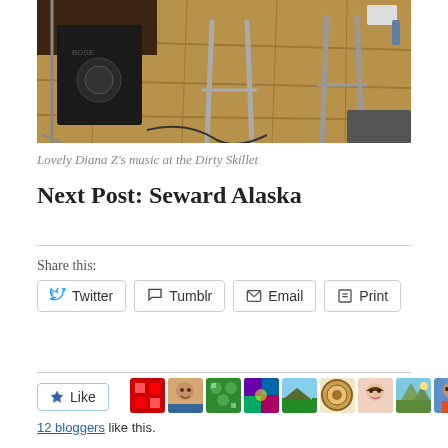[Figure (photo): Indoor photo showing music equipment including a Bose speaker, microphone stand, and bar stools on a wooden floor at the Dirty Skillet venue]
Lovely Diana Z's music at the Dirty Skillet
Next Post: Seward Alaska
Share this:
Twitter  Tumblr  Email  Print
12 bloggers like this.